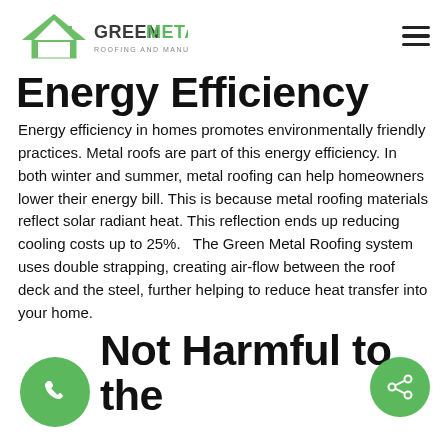[Figure (logo): Green Metal Roofing and Manufacturing Inc. logo with green house/roof icon and company name in green and dark text]
Energy Efficiency
Energy efficiency in homes promotes environmentally friendly practices. Metal roofs are part of this energy efficiency. In both winter and summer, metal roofing can help homeowners lower their energy bill. This is because metal roofing materials reflect solar radiant heat. This reflection ends up reducing cooling costs up to 25%.   The Green Metal Roofing system uses double strapping, creating air-flow between the roof deck and the steel, further helping to reduce heat transfer into your home.
Not Harmful to the